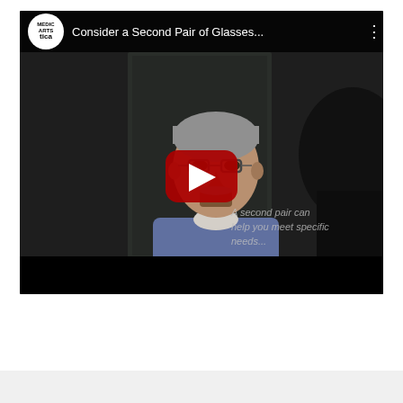[Figure (screenshot): YouTube video thumbnail screenshot showing a video titled 'Consider a Second Pair of Glasses...' from a Medical Arts optical channel. The video shows an older man with gray hair and glasses looking in a mirror, with a YouTube play button overlay. Overlay text reads 'A second pair can help you meet specific needs...' The video player has a black bottom bar.]